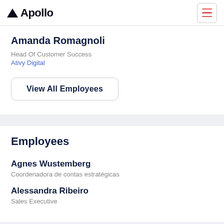Apollo
Amanda Romagnoli
Head Of Customer Success
Ativy Digital
View All Employees
Employees
Agnes Wustemberg
Coordenadora de contas estratégicas
Alessandra Ribeiro
Sales Executive